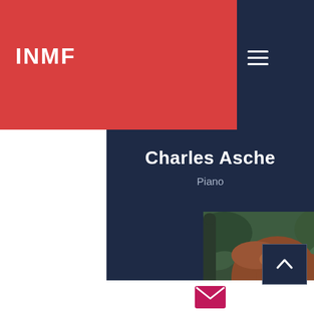INMF
Charles Asche
Piano
[Figure (photo): Portrait photo of a woman with reddish-brown hair, smiling, holding a flute, wearing a purple top, with green foliage in the background.]